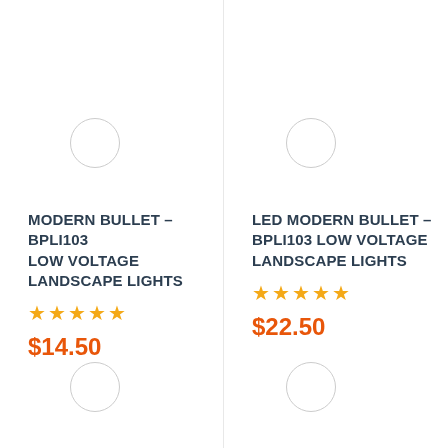[Figure (photo): Product card for MODERN BULLET - BPLI103 LOW VOLTAGE LANDSCAPE LIGHTS with 5-star rating and price $14.50]
MODERN BULLET - BPLI103 LOW VOLTAGE LANDSCAPE LIGHTS
★★★★★
$14.50
[Figure (photo): Product card for LED MODERN BULLET - BPLI103 LOW VOLTAGE LANDSCAPE LIGHTS with 5-star rating and price $22.50]
LED MODERN BULLET - BPLI103 LOW VOLTAGE LANDSCAPE LIGHTS
★★★★★
$22.50